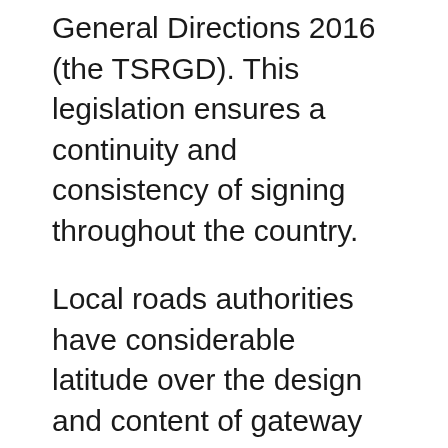General Directions 2016 (the TSRGD). This legislation ensures a continuity and consistency of signing throughout the country.
Local roads authorities have considerable latitude over the design and content of gateway signs, which are located at the entrance to settlements including references to matters of local interest and historical events. However, authorisation in accordance with the TSRGD does not extend to the use of signage